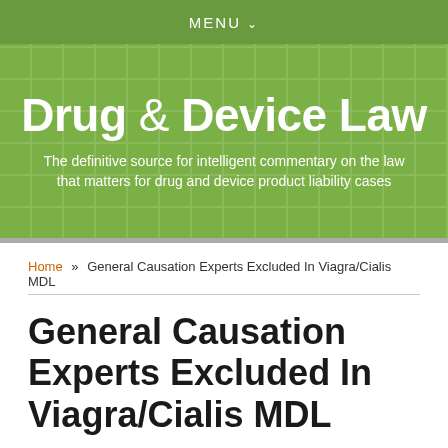MENU
Drug & Device Law
The definitive source for intelligent commentary on the law that matters for drug and device product liability cases
Home » General Causation Experts Excluded In Viagra/Cialis MDL
General Causation Experts Excluded In Viagra/Cialis MDL
[Figure (photo): Author headshot photo, partially visible at bottom of page]